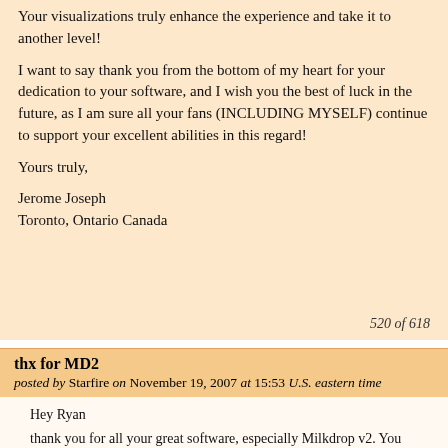Your visualizations truly enhance the experience and take it to another level!
I want to say thank you from the bottom of my heart for your dedication to your software, and I wish you the best of luck in the future, as I am sure all your fans (INCLUDING MYSELF) continue to support your excellent abilities in this regard!
Yours truly,
Jerome Joseph
Toronto, Ontario Canada
520 of 618
thx for MD2
posted by Starfire on November 19, 2007 at 15:53 U.S. eastern time
Hey Ryan
thank you for all your great software, especially Milkdrop v2. You made the best visualization even better, by far!